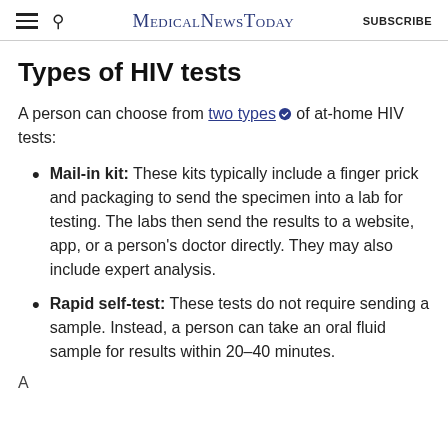MedicalNewsToday  SUBSCRIBE
Types of HIV tests
A person can choose from two types of at-home HIV tests:
Mail-in kit: These kits typically include a finger prick and packaging to send the specimen into a lab for testing. The labs then send the results to a website, app, or a person's doctor directly. They may also include expert analysis.
Rapid self-test: These tests do not require sending a sample. Instead, a person can take an oral fluid sample for results within 20–40 minutes.